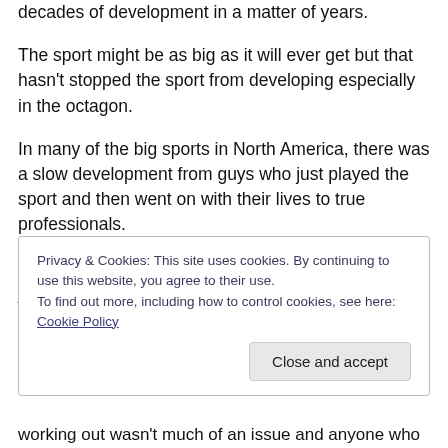decades of development in a matter of years.
The sport might be as big as it will ever get but that hasn't stopped the sport from developing especially in the octagon.
In many of the big sports in North America, there was a slow development from guys who just played the sport and then went on with their lives to true professionals.
When many of the big leagues began athletes were just the guys that went to the field or the gym or the rink once
Privacy & Cookies: This site uses cookies. By continuing to use this website, you agree to their use.
To find out more, including how to control cookies, see here: Cookie Policy
working out wasn't much of an issue and anyone who